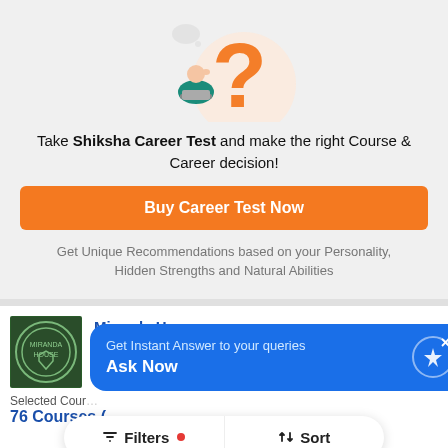[Figure (illustration): Illustration of a person sitting with a laptop next to a large orange question mark with a speech bubble]
Take Shiksha Career Test and make the right Course & Career decision!
Buy Career Test Now
Get Unique Recommendations based on your Personality, Hidden Strengths and Natural Abilities
[Figure (logo): Miranda House college circular logo in green]
Miranda Ho...
North Campu...
Admission '22 |...
Get Instant Answer to your queries
Ask Now
Selected Cour...
76 Courses (...
Filters
Sort
Total Fees
₹13 K - 76 K
Median Salary
₹4 - 6.17 LPA